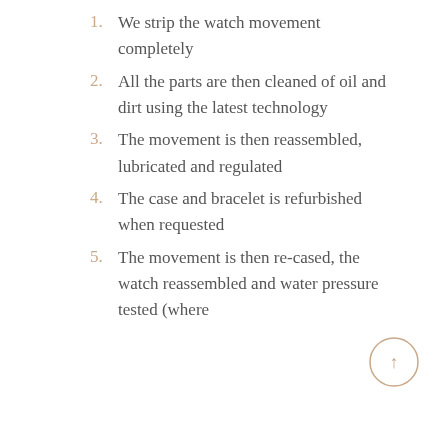1. We strip the watch movement completely
2. All the parts are then cleaned of oil and dirt using the latest technology
3. The movement is then reassembled, lubricated and regulated
4. The case and bracelet is refurbished when requested
5. The movement is then re-cased, the watch reassembled and water pressure tested (where
[Figure (illustration): A circular button with an upward-pointing arrow, outlined in a light tan/rose-gold color]